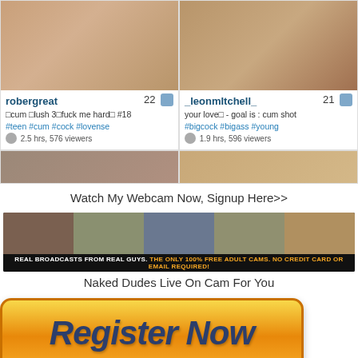[Figure (photo): Two webcam preview cards side by side showing user robergreat age 22 and _leonmItchell_ age 21]
[Figure (photo): Partial row of two more webcam preview thumbnails cropped at bottom]
Watch My Webcam Now, Signup Here>>
[Figure (photo): Banner ad: REAL BROADCASTS FROM REAL GUYS. THE ONLY 100% FREE ADULT CAMS. NO CREDIT CARD OR EMAIL REQUIRED!]
Naked Dudes Live On Cam For You
[Figure (other): Orange Register Now button]
Instant Chat Access